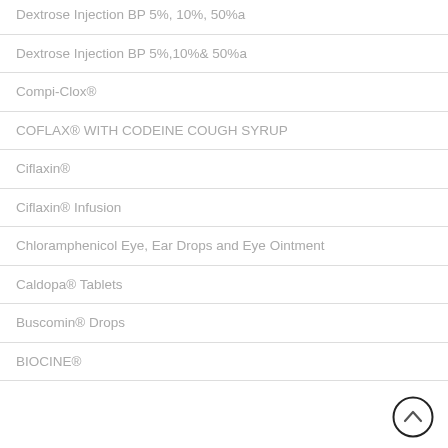Dextrose Injection BP 5%, 10%, 50%a
Dextrose Injection BP 5%,10%& 50%a
Compi-Clox®
COFLAX® WITH CODEINE COUGH SYRUP
Ciflaxin®
Ciflaxin® Infusion
Chloramphenicol Eye, Ear Drops and Eye Ointment
Caldopa® Tablets
Buscomin® Drops
BIOCINE®